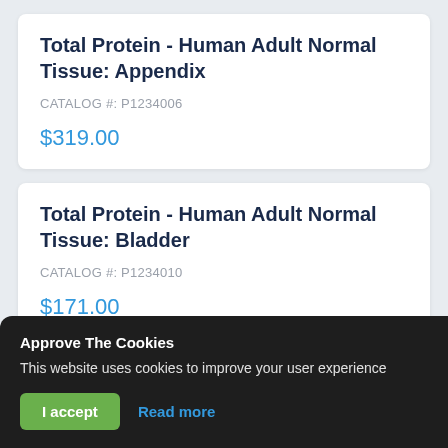Total Protein - Human Adult Normal Tissue: Appendix
CATALOG #: P1234006
$319.00
Total Protein - Human Adult Normal Tissue: Bladder
CATALOG #: P1234010
$171.00
Approve The Cookies
This website uses cookies to improve your user experience
I accept
Read more